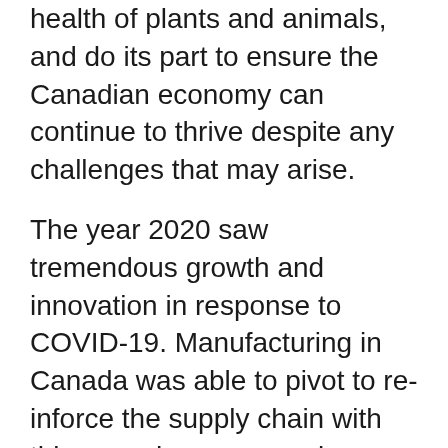health of plants and animals, and do its part to ensure the Canadian economy can continue to thrive despite any challenges that may arise.
The year 2020 saw tremendous growth and innovation in response to COVID-19. Manufacturing in Canada was able to pivot to re-inforce the supply chain with things such as personal protective equipment and hand sanitizer. Innovation in the rapid development of testing for COVID-19 and research for vaccine development demonstrate the shift in science and ability of Canada to compete on the global stage.